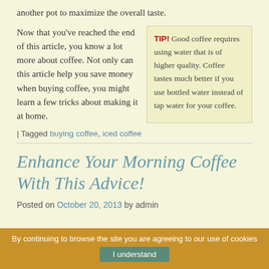another pot to maximize the overall taste.
Now that you've reached the end of this article, you know a lot more about coffee. Not only can this article help you save money when buying coffee, you might learn a few tricks about making it at home.
TIP! Good coffee requires using water that is of higher quality. Coffee tastes much better if you use bottled water instead of tap water for your coffee.
| Tagged buying coffee, iced coffee
Enhance Your Morning Coffee With This Advice!
Posted on October 20, 2013 by admin
By continuing to browse the site you are agreeing to our use of cookies